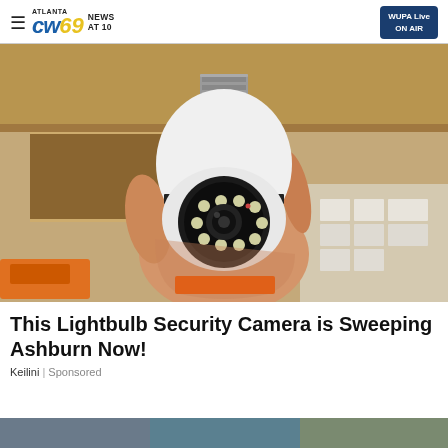Atlanta CW69 News at 10 | WUPA Live ON AIR
[Figure (photo): A hand holding a white lightbulb-shaped security camera with a circular lens and LED lights, with a screw base at top. Background shows shelving.]
This Lightbulb Security Camera is Sweeping Ashburn Now!
Keilini | Sponsored
[Figure (photo): Partial bottom strip image, partially visible at bottom of page.]